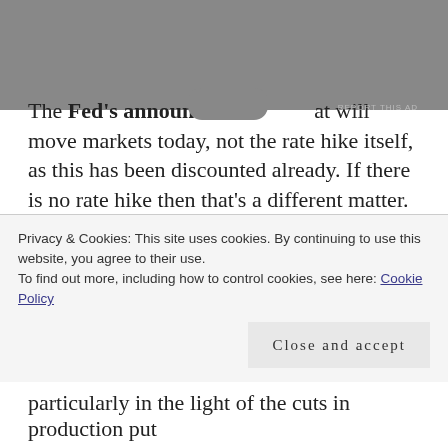The Fed's announcement [obscured] at will move markets today, not the rate hike itself, as this has been discounted already. If there is no rate hike then that's a different matter.
Gold markets are marking time ahead of the announcement later today. This is the last statement they will make before Trump takes power. Will that change things, or some part of the statement, reflect this? We doubt it, but nothing is certain these days. Trump has already pointed fingers at the Fed saying they are the cause [cut off]
Privacy & Cookies: This site uses cookies. By continuing to use this website, you agree to their use. To find out more, including how to control cookies, see here: Cookie Policy
particularly in the light of the cuts in production put